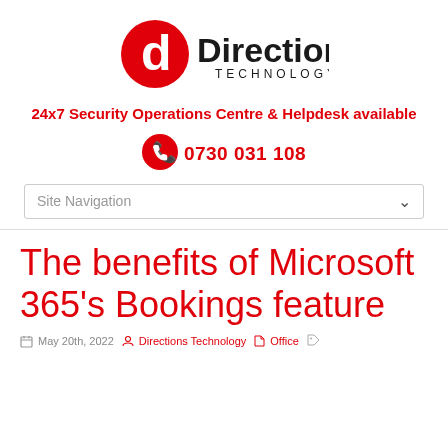[Figure (logo): Directions Technology logo — red circle with white 'd', bold black text 'Directions' with 'TECHNOLOGY' in smaller caps beneath]
24x7 Security Operations Centre & Helpdesk available
0730 031 108
Site Navigation
The benefits of Microsoft 365's Bookings feature
May 20th, 2022   Directions Technology   Office